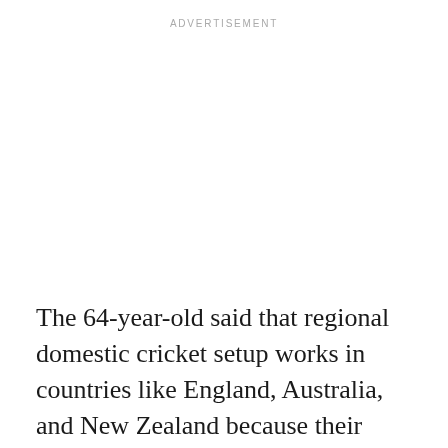ADVERTISEMENT
The 64-year-old said that regional domestic cricket setup works in countries like England, Australia, and New Zealand because their cricketers are financially secure and can play the